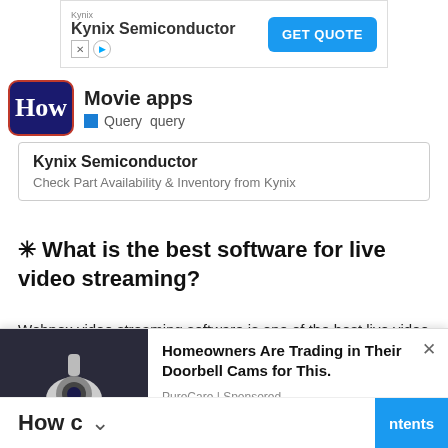[Figure (screenshot): Advertisement banner for Kynix Semiconductor with GET QUOTE button]
[Figure (logo): HowTech (How) logo with Movie apps query bar]
Kynix Semiconductor
Check Part Availability & Inventory from Kynix
✳ What is the best software for live video streaming?
Webnex video streaming software is one of the best live video streaming software because it has advanced features such as unlimited source, affordable price, other information integration
[Figure (photo): Security camera on wall, with popup ad overlay: Homeowners Are Trading in Their Doorbell Cams for This. PureCare | Sponsored]
How c
When tr
ntents